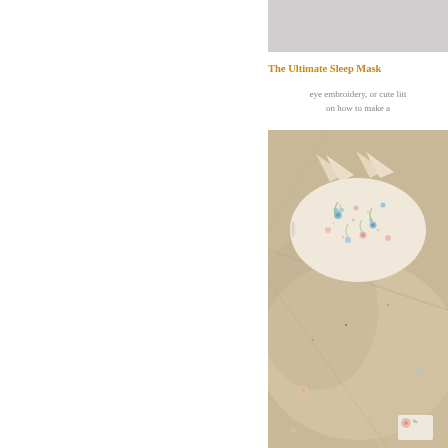[Figure (photo): Gray banner/header bar at top right of page]
The Ultimate Sleep Mask
eye embroidery, or cute litt... on how to make a...
[Figure (photo): A floral fabric sleep mask with cat ears resting on linen bedding, photographed from above. The mask features a cream/beige background with blue, pink and green floral print pattern.]